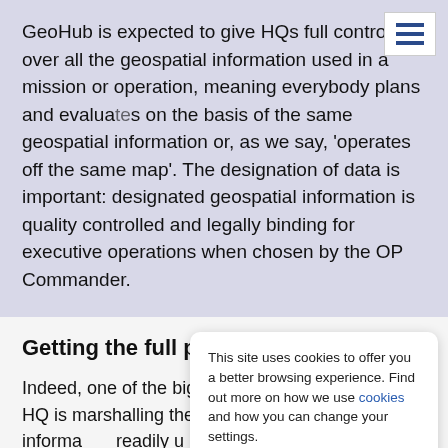GeoHub is expected to give HQs full control over all the geospatial information used in a mission or operation, meaning everybody plans and evaluates on the basis of the same geospatial information or, as we say, 'operates off the same map'. The designation of data is important: designated geospatial information is quality controlled and legally binding for executive operations when chosen by the OP Commander.
Getting the full picture
Indeed, one of the biggest daily challenges for any HQ is marshalling the situational awareness information readily available to commanders, responding to what ha...
This site uses cookies to offer you a better browsing experience. Find out more on how we use cookies and how you can change your settings.